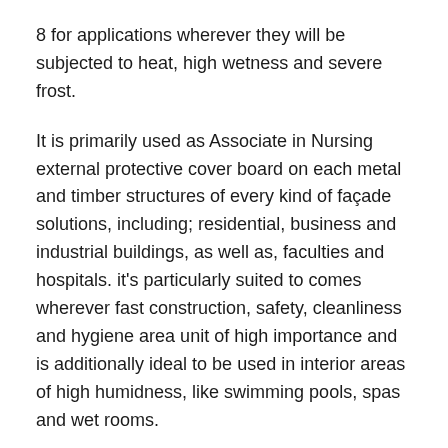8 for applications wherever they will be subjected to heat, high wetness and severe frost.
It is primarily used as Associate in Nursing external protective cover board on each metal and timber structures of every kind of façade solutions, including; residential, business and industrial buildings, as well as, faculties and hospitals. it's particularly suited to comes wherever fast construction, safety, cleanliness and hygiene area unit of high importance and is additionally ideal to be used in interior areas of high humidness, like swimming pools, spas and wet rooms.
WeatherKem Fibre Cement Board is intended specifically to satisfy the complicated and demanding necessities of the building and housing industry, providing architects, developers, and contractors with ability and performance edges to modify safe and innovative styles to be simply realized.